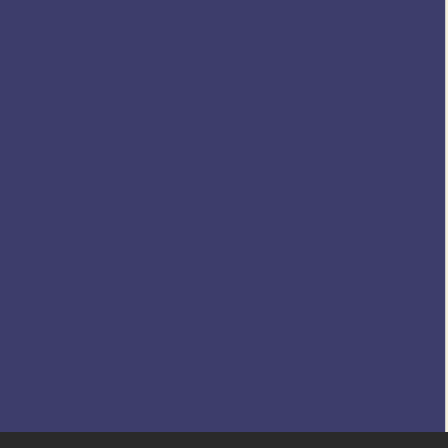arguments is, in our opinion, a fruitless effort toward truth. If we presume to think biblically, the handy quotations from which we hang our claims simply that the Bible supplies answers to our questions are to ask, and points to the issues that matter. The issue was not Christology but idolatry. Will be my people, and I will be your God" (Jere our own devising, under the influence of cu Christology. Jesus simply is present, in His the idolatries of the world, commit themselves (2 Corinthians 5:17).
Jesus came, in other words, not to dispense tongue and people and nation" (Revelatio 6:16). Family members sometimes disagr relationship. People remain brothers and sis nature of their parents or older siblings. "Arian" Christology, or seek to penetrate perspective, we should all treat one anothe Christ. [ Return to index of topics ]
Footnotes
1 See Robert C. Gregg and Dennis E. Groh, Early Aria
2 Ibid.
3 Nashville: Star Song Publishing Group, 1994.
4 For a fuller discussion of some of the points in Introduction to Christianity (1990), pp. 127-132.